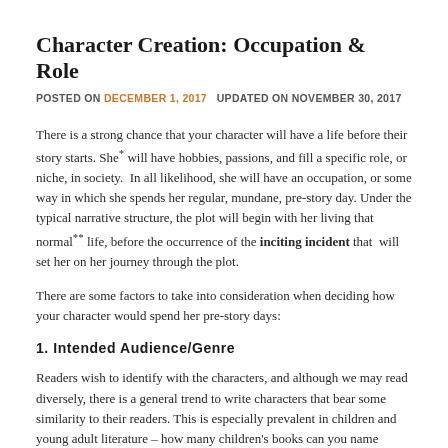Character Creation: Occupation & Role
POSTED ON DECEMBER 1, 2017   UPDATED ON NOVEMBER 30, 2017
There is a strong chance that your character will have a life before their story starts. She* will have hobbies, passions, and fill a specific role, or niche, in society.  In all likelihood, she will have an occupation, or some way in which she spends her regular, mundane, pre-story day. Under the typical narrative structure, the plot will begin with her living that normal** life, before the occurrence of the inciting incident that  will set her on her journey through the plot.
There are some factors to take into consideration when deciding how your character would spend her pre-story days:
1. Intended Audience/Genre
Readers wish to identify with the characters, and although we may read diversely, there is a general trend to write characters that bear some similarity to their readers. This is especially prevalent in children and young adult literature – how many children's books can you name